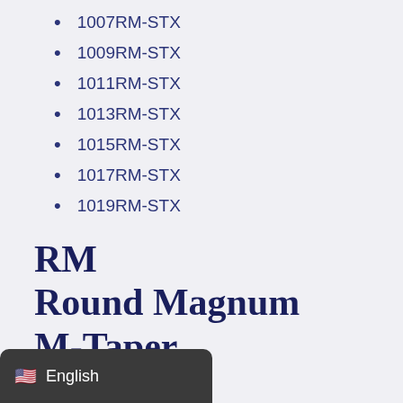1007RM-STX
1009RM-STX
1011RM-STX
1013RM-STX
1015RM-STX
1017RM-STX
1019RM-STX
RM
Round Magnum
M-Taper
1021RM-STX
[partial]-STX
[partial]-STX